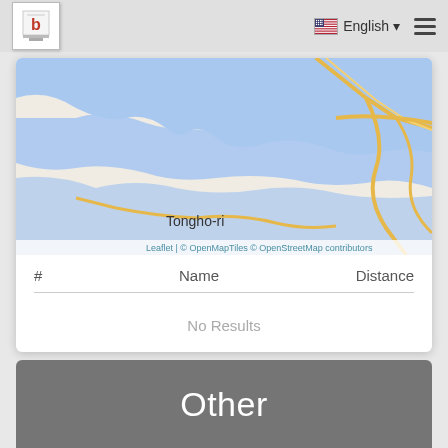b  English  ☰
[Figure (map): Map showing Tongho-ri area with water bodies in blue and roads in yellow. Attribution: Leaflet | © OpenMapTiles © OpenStreetMap contributors]
| # | Name | Distance |
| --- | --- | --- |
| No Results |  |  |
Other